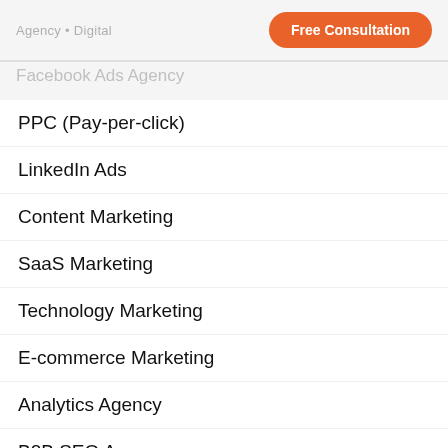Free Consultation
Facebook Ads Agency
PPC (Pay-per-click)
LinkedIn Ads
Content Marketing
SaaS Marketing
Technology Marketing
E-commerce Marketing
Analytics Agency
B2B SEO Agency
Digital Marketing Agency